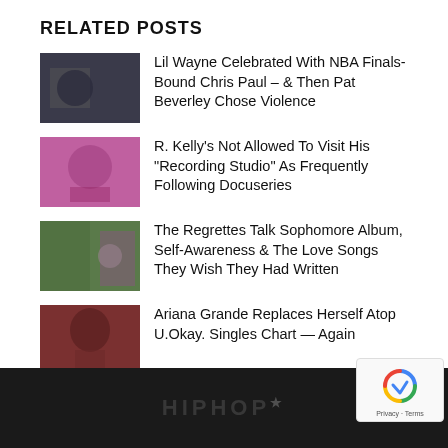RELATED POSTS
Lil Wayne Celebrated With NBA Finals-Bound Chris Paul – & Then Pat Beverley Chose Violence
R. Kelly's Not Allowed To Visit His "Recording Studio" As Frequently Following Docuseries
The Regrettes Talk Sophomore Album, Self-Awareness & The Love Songs They Wish They Had Written
Ariana Grande Replaces Herself Atop U.Okay. Singles Chart — Again
HIPHOP [logo]